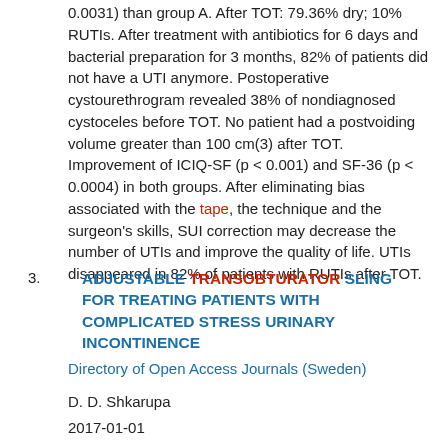0.0031) than group A. After TOT: 79.36% dry; 10% RUTIs. After treatment with antibiotics for 6 days and bacterial preparation for 3 months, 82% of patients did not have a UTI anymore. Postoperative cystourethrogram revealed 38% of nondiagnosed cystoceles before TOT. No patient had a postvoiding volume greater than 100 cm(3) after TOT. Improvement of ICIQ-SF (p < 0.001) and SF-36 (p < 0.0004) in both groups. After eliminating bias associated with the tape, the technique and the surgeon's skills, SUI correction may decrease the number of UTIs and improve the quality of life. UTIs disappeared in 82% of patients with RUTIs after TOT.
3. ADJUSTABLE TRANSOBTURATOR SLING FOR TREATING PATIENTS WITH COMPLICATED STRESS URINARY INCONTINENCE
Directory of Open Access Journals (Sweden)
D. D. Shkarupa
2017-01-01
Full Text Available Introduction. The optimal tension of suburethral tape is an important component of effectiveness